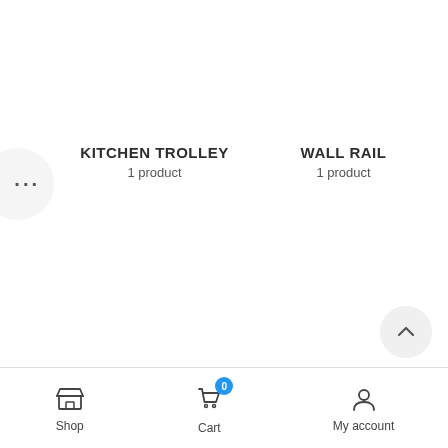[Figure (screenshot): Partially visible ellipsis button on left edge]
KITCHEN TROLLEY
1 product
WALL RAIL
1 product
[Figure (other): Scroll-to-top chevron button in bottom right]
Shop  Cart  My account